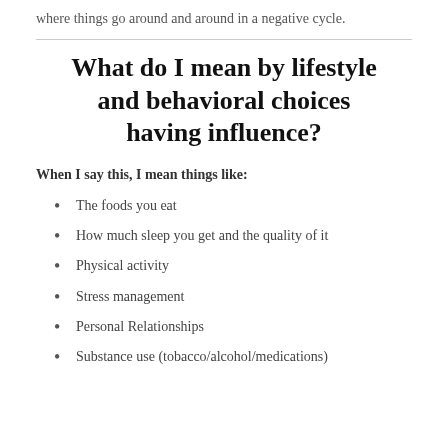where things go around and around in a negative cycle.
What do I mean by lifestyle and behavioral choices having influence?
When I say this, I mean things like:
The foods you eat
How much sleep you get and the quality of it
Physical activity
Stress management
Personal Relationships
Substance use (tobacco/alcohol/medications)